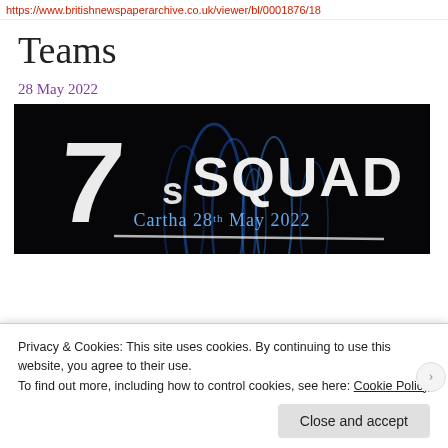https://www.britishnewspaperarchive.co.uk/viewer/bl/0001876/18
Teams
28 May 2022
[Figure (photo): Dark banner image with white brushstroke text reading '7s SQUAD' and subtitle 'Cartha 28th May 2022' with blue flame/smoke visual effects on black background]
Privacy & Cookies: This site uses cookies. By continuing to use this website, you agree to their use.
To find out more, including how to control cookies, see here: Cookie Policy